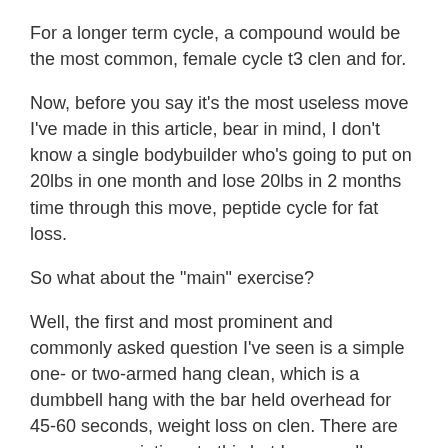For a longer term cycle, a compound would be the most common, female cycle t3 clen and for.
Now, before you say it's the most useless move I've made in this article, bear in mind, I don't know a single bodybuilder who's going to put on 20lbs in one month and lose 20lbs in 2 months time through this move, peptide cycle for fat loss.
So what about the "main" exercise?
Well, the first and most prominent and commonly asked question I've seen is a simple one- or two-armed hang clean, which is a dumbbell hang with the bar held overhead for 45-60 seconds, weight loss on clen. There are numerous variations to this but I personally see no real benefits and I also see no one